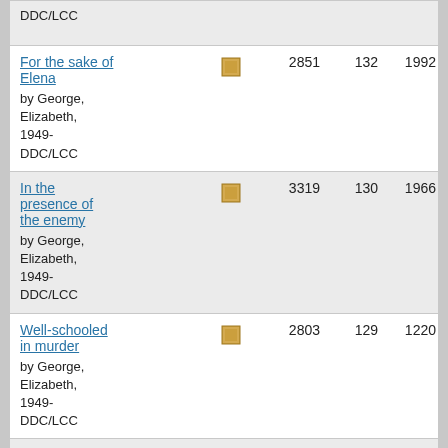DDC/LCC
For the sake of Elena
by George, Elizabeth, 1949-
DDC/LCC
2851 132 1992 2018
In the presence of the enemy
by George, Elizabeth, 1949-
DDC/LCC
3319 130 1966 2014
Well-schooled in murder
by George, Elizabeth, 1949-
DDC/LCC
2803 129 1220 2019
Playing for the ashes